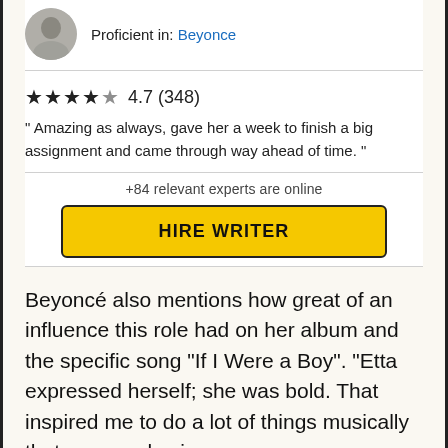Proficient in: Beyonce
4.7 (348)
" Amazing as always, gave her a week to finish a big assignment and came through way ahead of time. "
+84 relevant experts are online
HIRE WRITER
Beyoncé also mentions how great of an influence this role had on her album and the specific song “If I Were a Boy”. “Etta expressed herself; she was bold. That inspired me to do a lot of things musically that no one else is